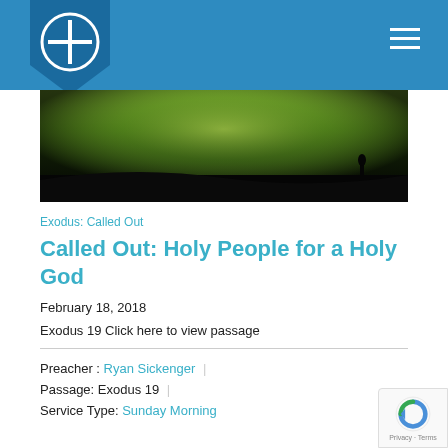[Figure (logo): Church logo: blue shield with white circle and cross]
[Figure (photo): Hero banner image showing dramatic green-tinted cloudy sky landscape]
Exodus: Called Out
Called Out: Holy People for a Holy God
February 18, 2018
Exodus 19 Click here to view passage
Preacher : Ryan Sickenger
Passage: Exodus 19
Service Type: Sunday Morning